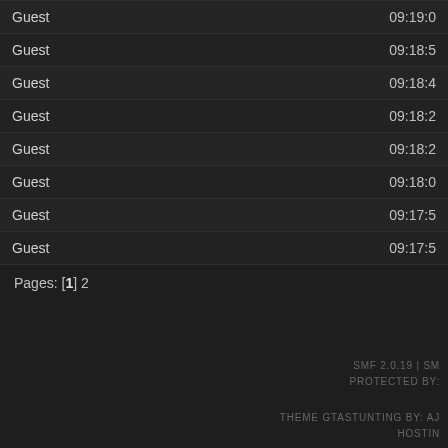| Name | Time |
| --- | --- |
| Guest | 09:19:0 |
| Guest | 09:18:5 |
| Guest | 09:18:4 |
| Guest | 09:18:2 |
| Guest | 09:18:2 |
| Guest | 09:18:0 |
| Guest | 09:17:5 |
| Guest | 09:17:5 |
Pages: [1] 2
SMF 2.0.19 | SM
PROTECTED BY:

THEME GTASTUNTING BY: AJ
HOSTIN